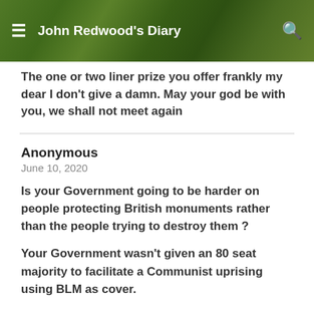John Redwood's Diary
The one or two liner prize you offer frankly my dear I don't give a damn. May your god be with you, we shall not meet again
Anonymous
June 10, 2020
Is your Government going to be harder on people protecting British monuments rather than the people trying to destroy them ?
Your Government wasn't given an 80 seat majority to facilitate a Communist uprising using BLM as cover.